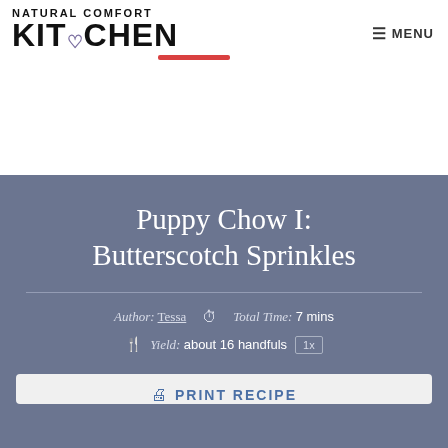NATURAL COMFORT KITCHEN — MENU
Puppy Chow I: Butterscotch Sprinkles
Author: Tessa  Total Time: 7 mins  Yield: about 16 handfuls  1x
PRINT RECIPE